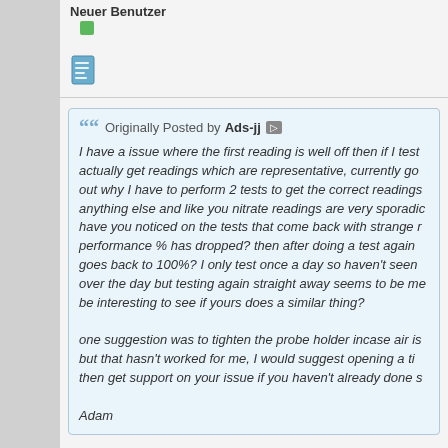Neuer Benutzer
[Figure (other): Green status indicator icon]
[Figure (other): Document/post icon (blue)]
Originally Posted by Ads-jj
I have a issue where the first reading is well off then if I test actually get readings which are representative, currently go out why I have to perform 2 tests to get the correct readings anything else and like you nitrate readings are very sporadic have you noticed on the tests that come back with strange r performance % has dropped? then after doing a test again goes back to 100%? I only test once a day so haven't seen over the day but testing again straight away seems to be me be interesting to see if yours does a similar thing?

one suggestion was to tighten the probe holder incase air is but that hasn't worked for me, I would suggest opening a ti then get support on your issue if you haven't already done s

Adam
Hi Adam,
I hope your problem is solved in meantime.
I have no weird values on my ION sensor, untill now performance h